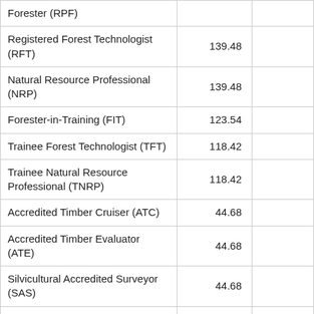| Designation | Fee |  |
| --- | --- | --- |
| Forester (RPF) |  |  |
| Registered Forest Technologist (RFT) | 139.48 |  |
| Natural Resource Professional (NRP) | 139.48 |  |
| Forester-in-Training (FIT) | 123.54 |  |
| Trainee Forest Technologist (TFT) | 118.42 |  |
| Trainee Natural Resource Professional (TNRP) | 118.42 |  |
| Accredited Timber Cruiser (ATC) | 44.68 |  |
| Accredited Timber Evaluator (ATE) | 44.68 |  |
| Silvicultural Accredited Surveyor (SAS) | 44.68 |  |
| Limited Licence (RPF and RFT) | 153.71 |  |